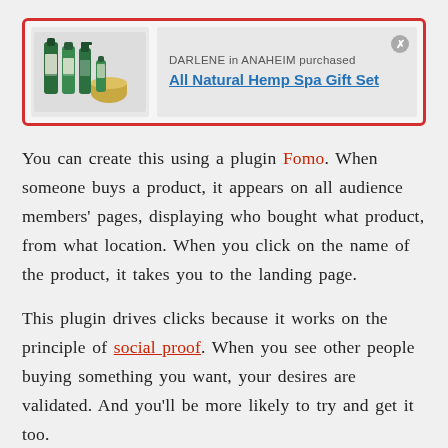[Figure (screenshot): A notification popup with a red border showing product images (hemp spa bottles) on the left and text 'DARLENE in ANAHEIM purchased All Natural Hemp Spa Gift Set' on the right with a close button.]
You can create this using a plugin Fomo. When someone buys a product, it appears on all audience members' pages, displaying who bought what product, from what location. When you click on the name of the product, it takes you to the landing page.
This plugin drives clicks because it works on the principle of social proof. When you see other people buying something you want, your desires are validated. And you'll be more likely to try and get it too.